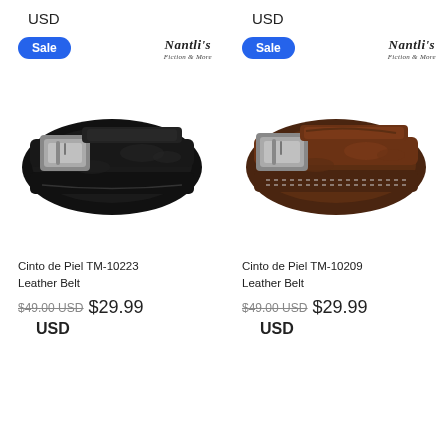USD
USD
[Figure (photo): Black embossed leather belt coiled up, showing silver buckle and decorative tooled pattern, with Nantli's logo and Sale badge]
[Figure (photo): Brown embossed leather belt coiled up, showing silver buckle and decorative tooled pattern with stitching detail, with Nantli's logo and Sale badge]
Cinto de Piel TM-10223 Leather Belt
Cinto de Piel TM-10209 Leather Belt
$49.00 USD  $29.99
$49.00 USD  $29.99
USD
USD